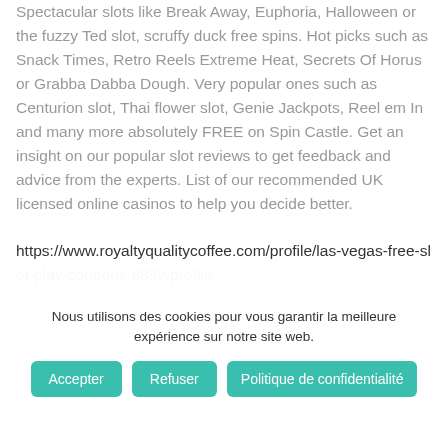Spectacular slots like Break Away, Euphoria, Halloween or the fuzzy Ted slot, scruffy duck free spins. Hot picks such as Snack Times, Retro Reels Extreme Heat, Secrets Of Horus or Grabba Dabba Dough. Very popular ones such as Centurion slot, Thai flower slot, Genie Jackpots, Reel em In and many more absolutely FREE on Spin Castle. Get an insight on our popular slot reviews to get feedback and advice from the experts. List of our recommended UK licensed online casinos to help you decide better.
https://www.royaltyqualitycoffee.com/profile/las-vegas-free-slot-play-coupons-8889/profile
Nous utilisons des cookies pour vous garantir la meilleure expérience sur notre site web.